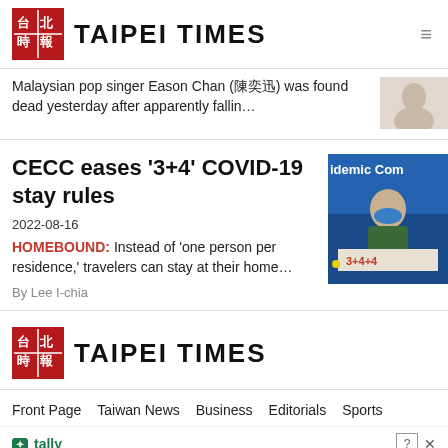TAIPEI TIMES
Malaysian pop singer Eason Chan (陳奕迅) was found dead yesterday after apparently fallin…
CECC eases '3+4' COVID-19 stay rules
2022-08-16
HOMEBOUND: Instead of 'one person per residence,' travelers can stay at their home…
By Lee I-chia
[Figure (photo): Photo of a person in blue mask at epidemic command center]
TAIPEI TIMES
Front Page   Taiwan News   Business   Editorials   Sports
tally Fast credit card payoff   Download Now
World N